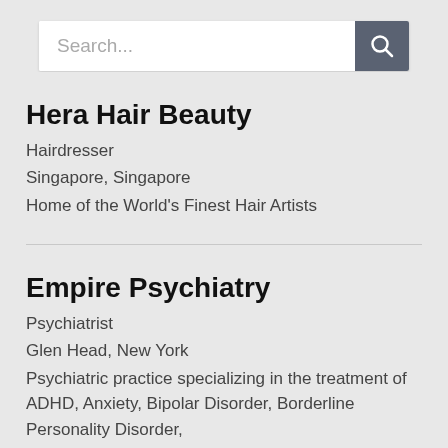[Figure (screenshot): Search bar with placeholder text 'Search...' and a dark grey search button with magnifying glass icon]
Hera Hair Beauty
Hairdresser
Singapore, Singapore
Home of the World’s Finest Hair Artists
Empire Psychiatry
Psychiatrist
Glen Head, New York
Psychiatric practice specializing in the treatment of ADHD, Anxiety, Bipolar Disorder, Borderline Personality Disorder, Depression, and OCD